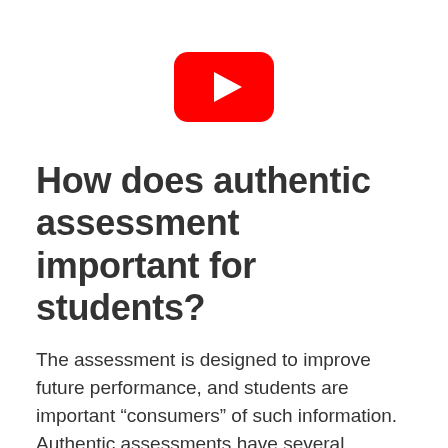[Figure (logo): YouTube logo icon — red rounded rectangle with white play triangle]
How does authentic assessment important for students?
The assessment is designed to improve future performance, and students are important “consumers” of such information. Authentic assessments have several advantages over conventional tests. …